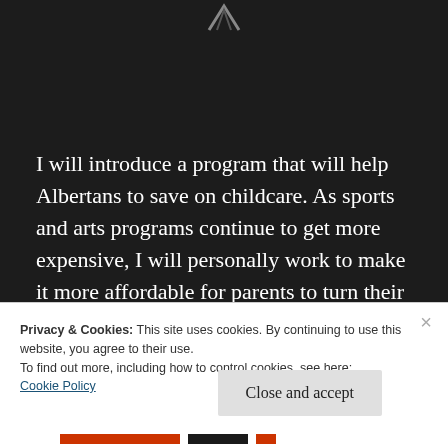[Figure (logo): Partial logo or icon visible at top center of dark background]
I will introduce a program that will help Albertans to save on childcare. As sports and arts programs continue to get more expensive, I will personally work to make it more affordable for parents to turn their children's dreams into reality. Alberta families with
Privacy & Cookies: This site uses cookies. By continuing to use this website, you agree to their use.
To find out more, including how to control cookies, see here:
Cookie Policy
Close and accept